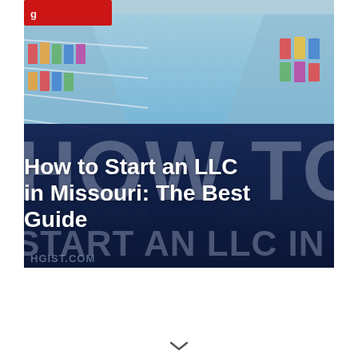[Figure (photo): A large banner/hero image showing a warehouse or retail shelf aisle in the background (blue tones) with bold text overlay reading 'HOW TO START AN LLC IN MISSOURI' on a dark navy blue band. A small red logo/badge is visible in the top-left corner.]
How to Start an LLC in Missouri: The Best Guide